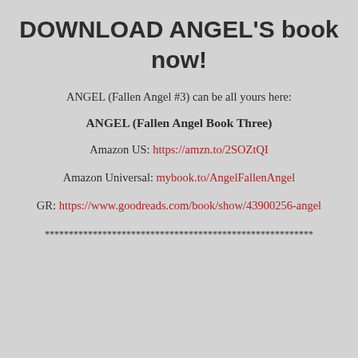DOWNLOAD ANGEL'S book now!
ANGEL (Fallen Angel #3) can be all yours here:
ANGEL (Fallen Angel Book Three)
Amazon US: https://amzn.to/2SOZtQI
Amazon Universal: mybook.to/AngelFallenAngel
GR: https://www.goodreads.com/book/show/43900256-angel
********************************************************